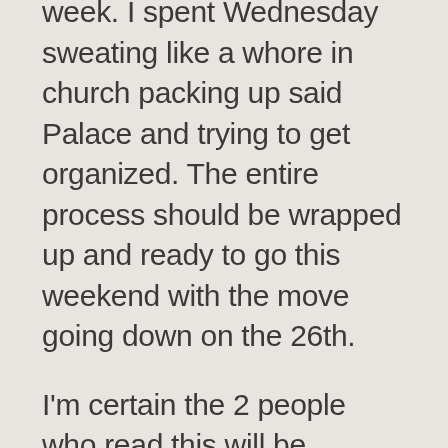week. I spent Wednesday sweating like a whore in church packing up said Palace and trying to get organized. The entire process should be wrapped up and ready to go this weekend with the move going down on the 26th.
I'm certain the 2 people who read this will be enthralled.
Anyways, there's all kinds of shit going on in the country that I'd love to discuss, but quite frankly I'm not sure my continually fragile mental stability can take any more. Saying that I'm frustrated would not do it justice and so because of that I'm leaving it be.